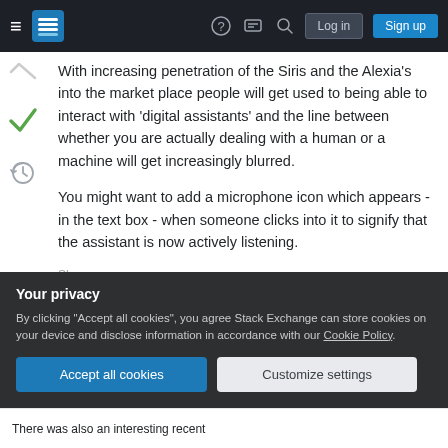Stack Exchange navigation bar with hamburger menu, logo, help, chat, search icons, Log in and Sign up buttons
With increasing penetration of the Siris and the Alexia's into the market place people will get used to being able to interact with 'digital assistants' and the line between whether you are actually dealing with a human or a machine will get increasingly blurred.
You might want to add a microphone icon which appears - in the text box - when someone clicks into it to signify that the assistant is now actively listening.
Share
Your privacy
By clicking "Accept all cookies", you agree Stack Exchange can store cookies on your device and disclose information in accordance with our Cookie Policy.